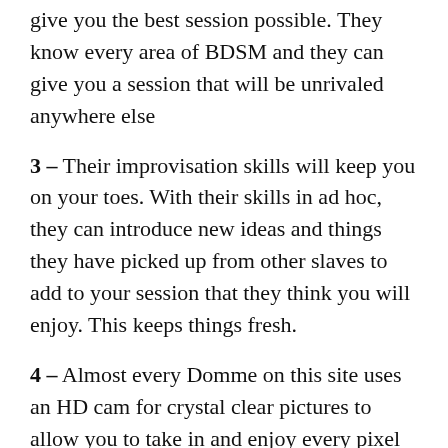give you the best session possible. They know every area of BDSM and they can give you a session that will be unrivaled anywhere else
3 – Their improvisation skills will keep you on your toes. With their skills in ad hoc, they can introduce new ideas and things they have picked up from other slaves to add to your session that they think you will enjoy. This keeps things fresh.
4 – Almost every Domme on this site uses an HD cam for crystal clear pictures to allow you to take in and enjoy every pixel at its very best – you can check out the
5 – Dominant females are available 24/7 and there is never a time when there are no Dommes online